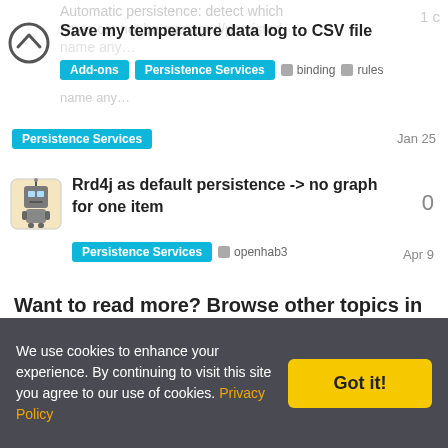[Figure (logo): OpenHAB logo: circle with chevron up arrow]
Save my temperature data log to CSV file
Add-ons   Persistence Services   binding   rules
Persistence Services   Jan 25
[Figure (illustration): Robot avatar (Futurama Bender style)]
Rrd4j as default persistence -> no graph for one item
Persistence Services   openhab3   Apr 9   0
Want to read more? Browse other topics in Persistence Services or view latest topics.
[Figure (logo): OpenHAB logo large centered, faded]
We use cookies to enhance your experience. By continuing to visit this site you agree to our use of cookies. Privacy Policy   Got it!